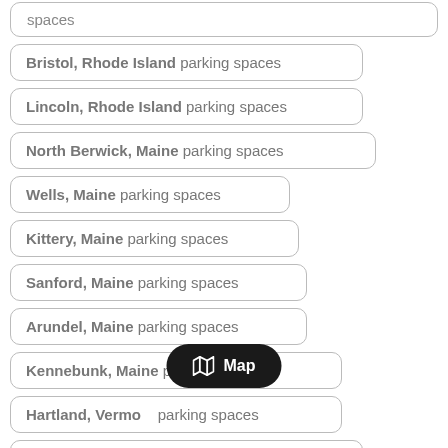spaces
Bristol, Rhode Island parking spaces
Lincoln, Rhode Island parking spaces
North Berwick, Maine parking spaces
Wells, Maine parking spaces
Kittery, Maine parking spaces
Sanford, Maine parking spaces
Arundel, Maine parking spaces
Kennebunk, Maine parking spaces
Hartland, Vermont parking spaces
Brattleboro, Vermont parking spaces